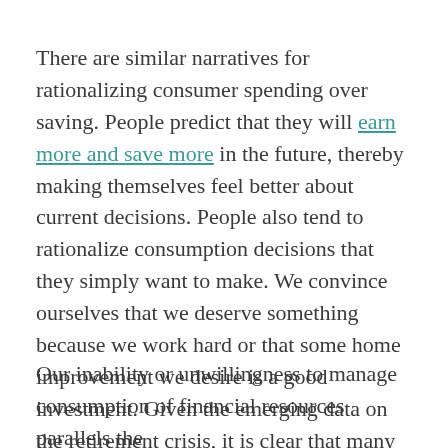There are similar narratives for rationalizing consumer spending over saving. People predict that they will earn more and save more in the future, thereby making themselves feel better about current decisions. People also tend to rationalize consumption decisions that they simply want to make. We convince ourselves that we deserve something because we work hard or that some home improvement we desire is a good investment. Given the emerging data on the retirement crisis, it is clear that many people are consuming way beyond their means.
Our inability or unwillingness to manage consumption of financial resources parallels the